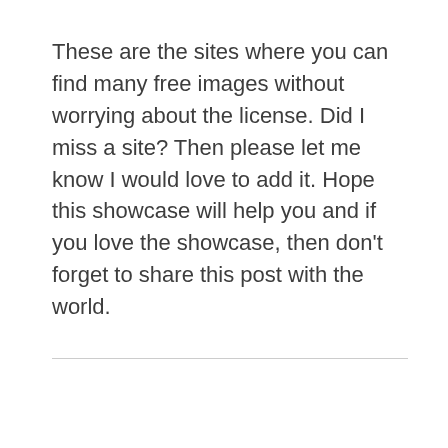These are the sites where you can find many free images without worrying about the license. Did I miss a site? Then please let me know I would love to add it. Hope this showcase will help you and if you love the showcase, then don't forget to share this post with the world.